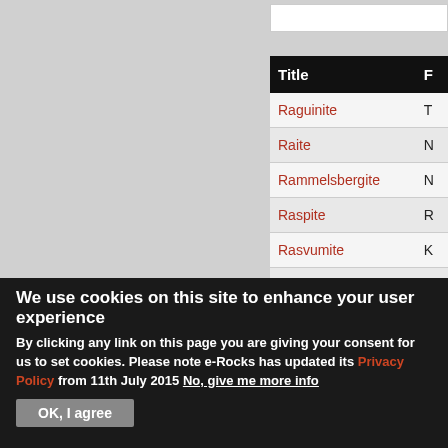| Title |  |
| --- | --- |
| Raguinite | T |
| Raite | N |
| Rammelsbergite | N |
| Raspite | R |
| Rasvumite | K |
| Rauchite | N |
| Rauenthalite | C |
| Realgar | A |
| Red Beryl | B |
We use cookies on this site to enhance your user experience
By clicking any link on this page you are giving your consent for us to set cookies. Please note e-Rocks has updated its Privacy Policy from 11th July 2015 No, give me more info